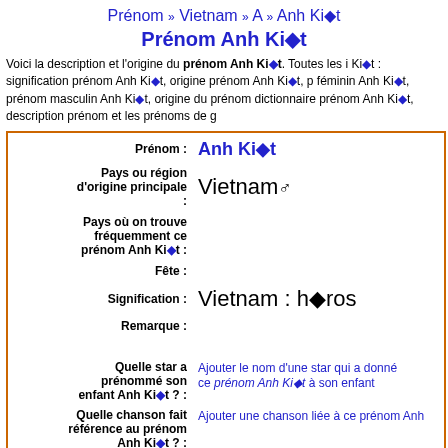Prénom » Vietnam » A » Anh Ki◆t
Prénom Anh Ki◆t
Voici la description et l'origine du prénom Anh Ki◆t. Toutes les i Ki◆t : signification prénom Anh Ki◆t, origine prénom Anh Ki◆t, p féminin Anh Ki◆t, prénom masculin Anh Ki◆t, origine du prénom dictionnaire prénom Anh Ki◆t, description prénom et les prénoms de g
| Label | Value |
| --- | --- |
| Prénom : | Anh Ki◆t |
| Pays ou région d'origine principale : | Vietnam ♂ |
| Pays où on trouve fréquemment ce prénom Anh Ki◆t : |  |
| Fête : |  |
| Signification : | Vietnam : h◆ros |
| Remarque : |  |
| Quelle star a prénommé son enfant Anh Ki◆t ? : | Ajouter le nom d'une star qui a donné ce prénom Anh Ki◆t à son enfant |
| Quelle chanson fait référence au prénom Anh Ki◆t ? : | Ajouter une chanson liée à ce prénom Anh |
| Notes : | (0/10) |
|  | 0 |